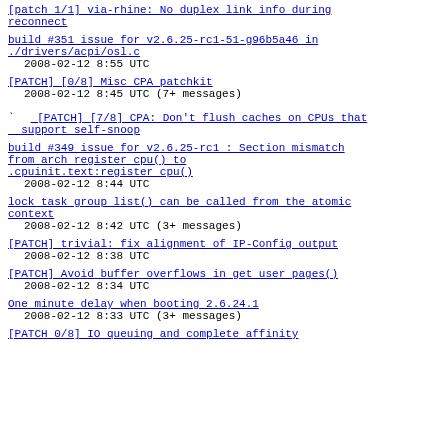[patch 1/1] via-rhine: No duplex link info during reconnect (link truncated)
build #351 issue for v2.6.25-rc1-51-g96b5a46 in ./drivers/acpi/osl.c
2008-02-12  8:55 UTC
[PATCH] [0/8] Misc CPA patchkit
2008-02-12  8:45 UTC  (7+ messages)
` [PATCH] [7/8] CPA: Don't flush caches on CPUs that support self-snoop
build #349 issue for v2.6.25-rc1 : Section mismatch from arch register cpu() to .cpuinit.text:register cpu()
2008-02-12  8:44 UTC
lock task group list() can be called from the atomic context
2008-02-12  8:42 UTC  (3+ messages)
[PATCH] trivial: fix alignment of IP-Config output
2008-02-12  8:38 UTC
[PATCH] Avoid buffer overflows in get user pages()
2008-02-12  8:34 UTC
One minute delay when booting 2.6.24.1
2008-02-12  8:33 UTC  (3+ messages)
[PATCH 0/8] IO queuing and complete affinity (truncated)